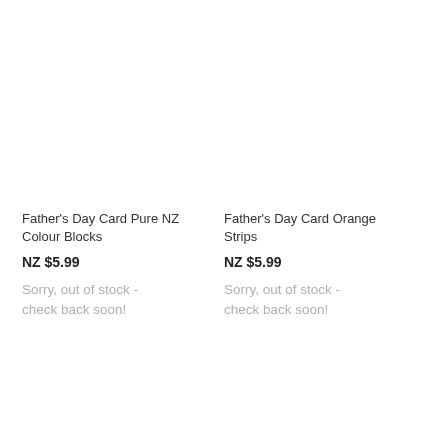Father's Day Card Pure NZ Colour Blocks
NZ $5.99
Sorry, out of stock - check back soon!
Father's Day Card Orange Strips
NZ $5.99
Sorry, out of stock - check back soon!